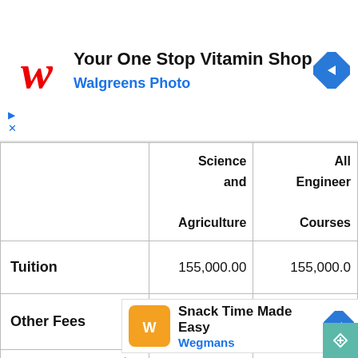[Figure (screenshot): Walgreens Photo advertisement banner: logo with stylized W, text 'Your One Stop Vitamin Shop' and 'Walgreens Photo', blue diamond arrow icon]
|  | Science and Agriculture | All Engineer Courses |
| --- | --- | --- |
| Tuition | 155,000.00 | 155,000.0 |
| Other Fees |  |  |
| Fac...
Due... |  | ...0 |
[Figure (screenshot): Wegmans advertisement: orange logo, 'Snack Time Made Easy', 'Wegmans' in blue, blue diamond arrow icon, teal button with cursor icon]